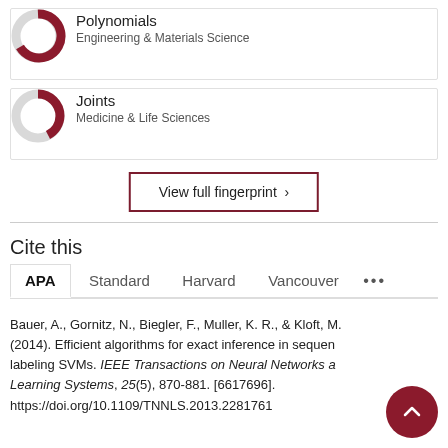[Figure (donut-chart): Donut chart icon for Polynomials, approximately 75% filled in dark red/grey]
Polynomials
Engineering & Materials Science
[Figure (donut-chart): Donut chart icon for Joints, approximately 60% filled in dark red/grey]
Joints
Medicine & Life Sciences
View full fingerprint ›
Cite this
APA   Standard   Harvard   Vancouver   •••
Bauer, A., Gornitz, N., Biegler, F., Muller, K. R., & Kloft, M. (2014). Efficient algorithms for exact inference in sequence labeling SVMs. IEEE Transactions on Neural Networks and Learning Systems, 25(5), 870-881. [6617696]. https://doi.org/10.1109/TNNLS.2013.2281761